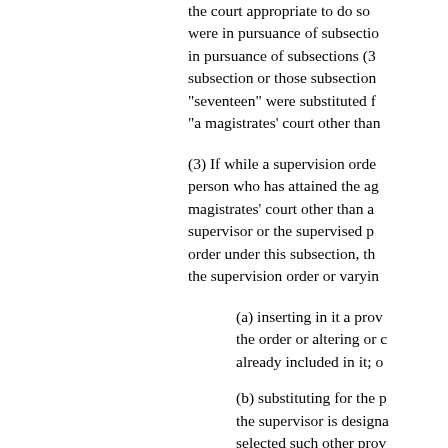the court appropriate to do so were in pursuance of subsection in pursuance of subsections (3 subsection or those subsections "seventeen" were substituted f "a magistrates' court other than
(3) If while a supervision order person who has attained the age magistrates' court other than a supervisor or the supervised p order under this subsection, the the supervision order or varying
(a) inserting in it a prov the order or altering or c already included in it; o
(b) substituting for the p the supervisor is designa selected such other prov have been included in th power to make it and we
(c) substituting for the m order in pursuance of se